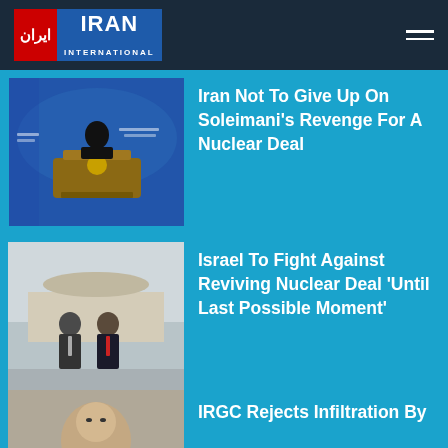Iran International
Iran Not To Give Up On Soleimani's Revenge For A Nuclear Deal
Israel To Fight Against Reviving Nuclear Deal 'Until Last Possible Moment'
IRGC Rejects Infiltration By